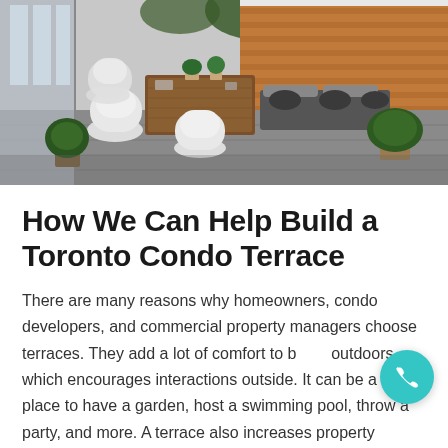[Figure (photo): Outdoor condo terrace with white modern chairs, a wooden dining table, built-in bench seating with cushions, potted plants, and a horizontal wood slat privacy fence under trees.]
How We Can Help Build a Toronto Condo Terrace
There are many reasons why homeowners, condo developers, and commercial property managers choose terraces. They add a lot of comfort to being outdoors which encourages interactions outside. It can be a great place to have a garden, host a swimming pool, throw a party, and more. A terrace also increases property values, regardless of